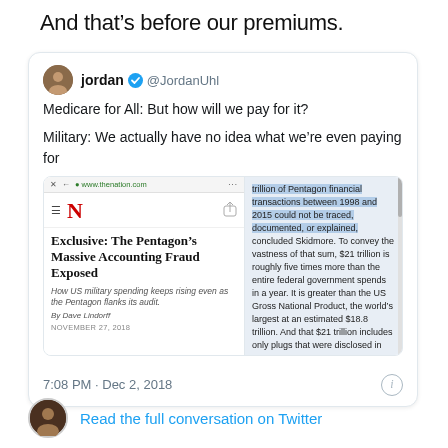And that’s before our premiums.
[Figure (screenshot): A Twitter/social media screenshot showing a tweet by @JordanUhl about Medicare for All and military spending, embedded with an article screenshot from The Nation: 'Exclusive: The Pentagon's Massive Accounting Fraud Exposed', with highlighted article text about $21 trillion of Pentagon financial transactions. Below: '7:08 PM · Dec 2, 2018'. At bottom: 'Read the full conversation on Twitter' link with avatar.]